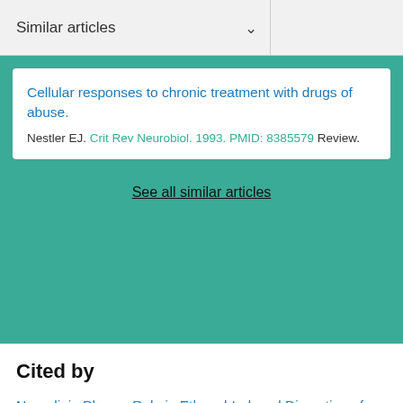Similar articles
Cellular responses to chronic treatment with drugs of abuse.
Nestler EJ. Crit Rev Neurobiol. 1993. PMID: 8385579 Review.
See all similar articles
Cited by
Neuroligin Plays a Role in Ethanol-Induced Disruption of Memory and Corresponding Modulation of Glutamate Receptor Expression.
Rose JK, et al. Front Behav Neurosci. 2022. PMID: 35722190